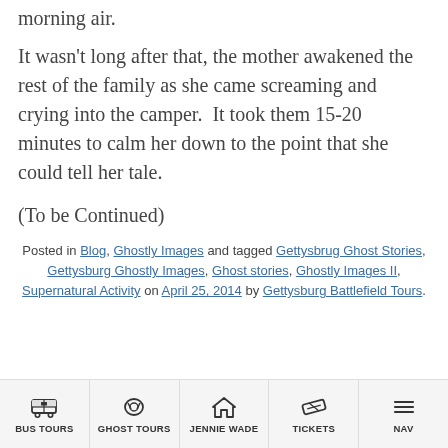morning air.
It wasn't long after that, the mother awakened the rest of the family as she came screaming and crying into the camper.  It took them 15-20 minutes to calm her down to the point that she could tell her tale.
(To be Continued)
Posted in Blog, Ghostly Images and tagged Gettysbrug Ghost Stories, Gettysburg Ghostly Images, Ghost stories, Ghostly Images II, Supernatural Activity on April 25, 2014 by Gettysburg Battlefield Tours.
[Figure (other): Mobile navigation bar with icons: BUS TOURS (bus icon), GHOST TOURS (ghost/eye icon), JENNIE WADE (house icon), TICKETS (ticket icon), NAV (menu icon)]